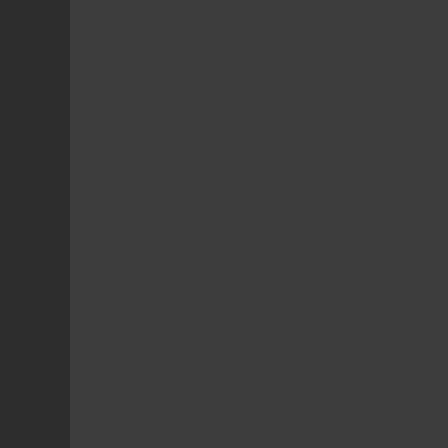acting as an another layer value. Imagine what could sesame street hint: capita here's a wikipedia article t you get the outlook https://en.wikipedia.org/wi
Crypto is currently basicall combined. All the possibili effect it does a huge dama technology that is quite bri cases that would benefit e visible contracts? fuck tha gangsta monkey faces go run on instant settlements glitches abusing T+x via d collateral, to take another take another positions to u positions to use as collate And be Goldman, JP Morg swaps, have Moody's, Ern AAA+ and dump them ont then watch the fireworks. like swiss and their chees
Last edited by rufuske; May 14 2022